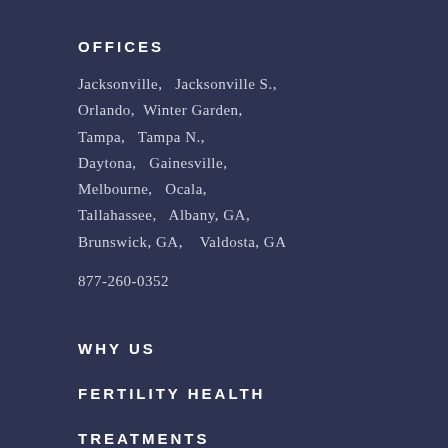OFFICES
Jacksonville,   Jacksonville S.,
Orlando,  Winter Garden,
Tampa,   Tampa N.,
Daytona,   Gainesville,
Melbourne,   Ocala,
Tallahassee,   Albany, GA,
Brunswick, GA,   Valdosta, GA
877-260-0352
WHY US
FERTILITY HEALTH
TREATMENTS